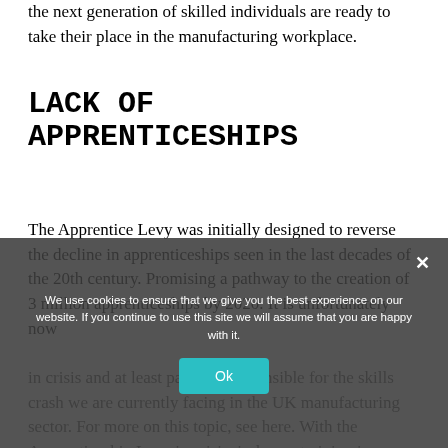the next generation of skilled individuals are ready to take their place in the manufacturing workplace.
LACK OF APPRENTICESHIPS
The Apprentice Levy was initially designed to reverse the decline in apprenticeships seen in the last decades of the 20th century. Promising a pathway to the creation of 3 million apprenticeships by 2020. It is unfortunately now
in crisis and at least partially responsible for the skills crash we are currently facing in the UK manufacturing sector. For more on this topic, see here. With the Apprenticeship Levy in crisis, in-house training is needed more than ever to fill the
We use cookies to ensure that we give you the best experience on our website. If you continue to use this site we will assume that you are happy with it.